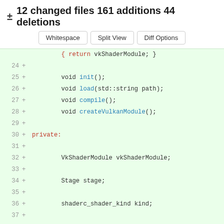± 12 changed files 161 additions 44 deletions
[Figure (screenshot): Three buttons: Whitespace, Split View, Diff Options]
Code diff showing lines 24-40 with additions marked by + signs, including void init(), void load(std::string path), void compile(), void createVulkanModule(), private:, VkShaderModule vkShaderModule, Stage stage, shaderc_shader_kind kind, std::string stageMacro, enum Language